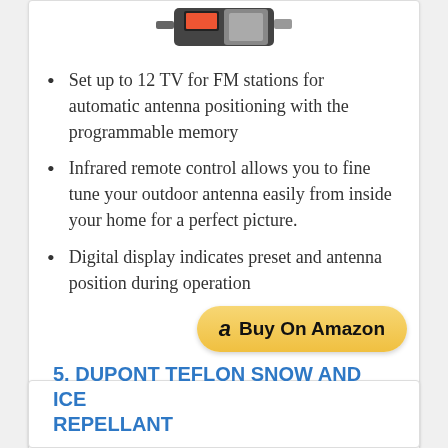[Figure (photo): Product image of an antenna rotator device, dark colored, shown at top of card]
Set up to 12 TV for FM stations for automatic antenna positioning with the programmable memory
Infrared remote control allows you to fine tune your outdoor antenna easily from inside your home for a perfect picture.
Digital display indicates preset and antenna position during operation
5. DUPONT TEFLON SNOW AND ICE REPELLANT